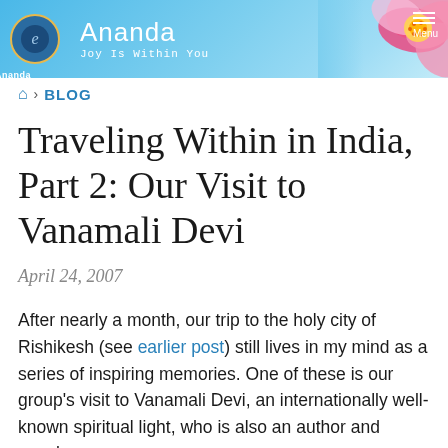Ananda — Joy Is Within You
BLOG
Traveling Within in India, Part 2: Our Visit to Vanamali Devi
April 24, 2007
After nearly a month, our trip to the holy city of Rishikesh (see earlier post) still lives in my mind as a series of inspiring memories. One of these is our group's visit to Vanamali Devi, an internationally well-known spiritual light, who is also an author and speaker.